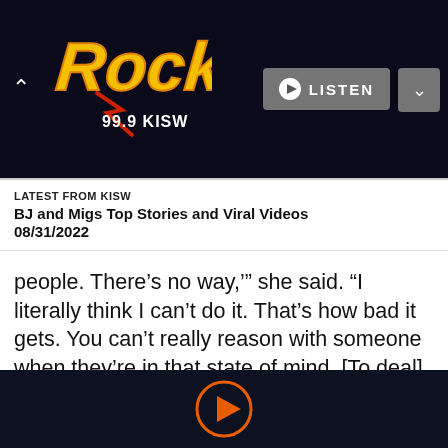Rock 99.9 KISW
LATEST FROM KISW
BJ and Migs Top Stories and Viral Videos
08/31/2022
people. There’s no way,’” she said. “I literally think I can’t do it. That’s how bad it gets. You can’t really reason with someone when they’re in that state of mind. [To deal], I invite all of the anxiety in. It may sound weird, but I’ve been researching the psychology of it.”